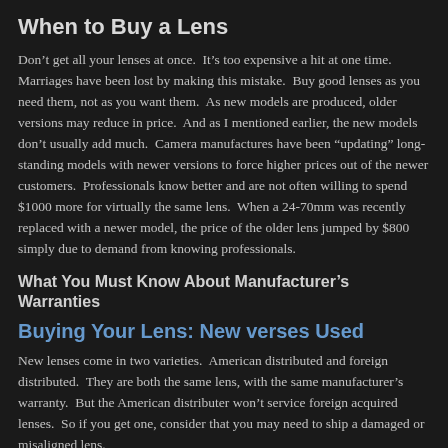When to Buy a Lens
Don't get all your lenses at once.  It's too expensive a hit at one time.  Marriages have been lost by making this mistake.  Buy good lenses as you need them, not as you want them.  As new models are produced, older versions may reduce in price.  And as I mentioned earlier, the new models don't usually add much.  Camera manufactures have been “updating” long-standing models with newer versions to force higher prices out of the newer customers.  Professionals know better and are not often willing to spend $1000 more for virtually the same lens.  When a 24-70mm was recently replaced with a newer model, the price of the older lens jumped by $800 simply due to demand from knowing professionals.
What You Must Know About Manufacturer’s Warranties
Buying Your Lens: New verses Used
New lenses come in two varieties.  American distributed and foreign distributed.  They are both the same lens, with the same manufacturer’s warranty.  But the American distributer won’t service foreign acquired lenses.  So if you get one, consider that you may need to ship a damaged or misaligned lens. As a reference. Not all the small print towns where there is a